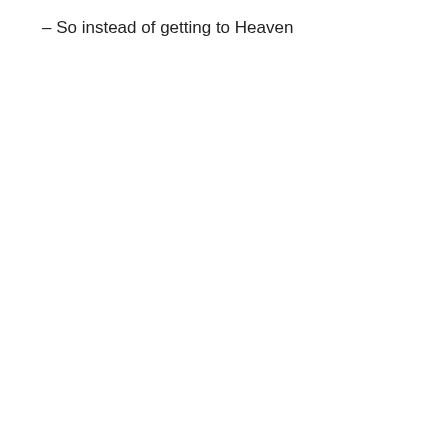– So instead of getting to Heaven